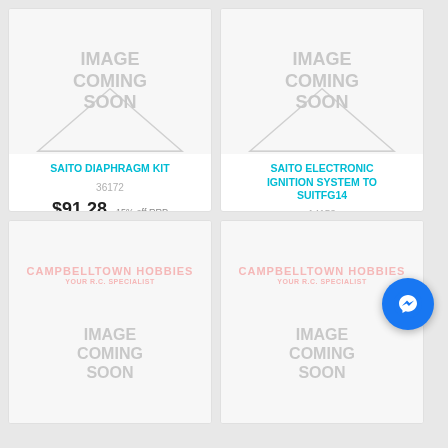[Figure (photo): Image coming soon placeholder for SAITO DIAPHRAGM KIT]
SAITO DIAPHRAGM KIT
36172
$91.28 15% off RRP
ADD TO CART
[Figure (photo): Image coming soon placeholder for SAITO ELECTRONIC IGNITION SYSTEM TO SUITFG14]
SAITO ELECTRONIC IGNITION SYSTEM TO SUITFG14
14153
$249.76
ADD TO CART
[Figure (photo): Image coming soon placeholder with Campbelltown Hobbies watermark, bottom left card]
[Figure (photo): Image coming soon placeholder with Campbelltown Hobbies watermark, bottom right card]